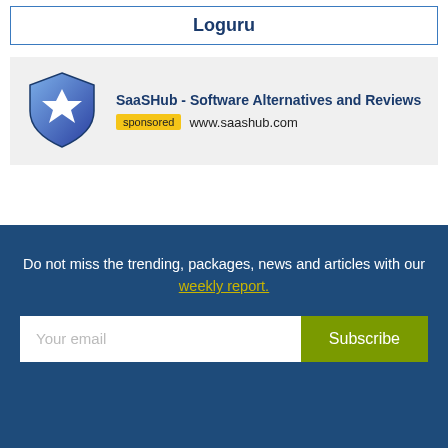Loguru
[Figure (logo): SaaSHub shield logo with star, blue gradient shield]
SaaSHub - Software Alternatives and Reviews
sponsored www.saashub.com
Do not miss the trending, packages, news and articles with our weekly report.
Your email
Subscribe